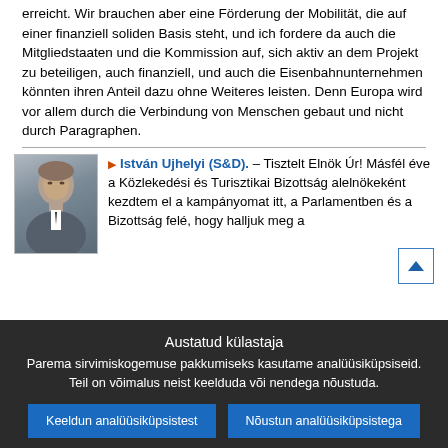erreicht. Wir brauchen aber eine Förderung der Mobilität, die auf einer finanziell soliden Basis steht, und ich fordere da auch die Mitgliedstaaten und die Kommission auf, sich aktiv an dem Projekt zu beteiligen, auch finanziell, und auch die Eisenbahnunternehmen könnten ihren Anteil dazu ohne Weiteres leisten. Denn Europa wird vor allem durch die Verbindung von Menschen gebaut und nicht durch Paragraphen.
[Figure (photo): Headshot photo of István Ujhelyi, a man in a suit]
István Ujhelyi (S&D). – Tisztelt Elnök Úr! Másfél éve a Közlekedési és Turisztikai Bizottság alelnökeként kezdtem el a kampányomat itt, a Parlamentben és a Bizottság felé, hogy halljuk meg a
Austatud külastaja
Parema sirvimiskogemuse pakkumiseks kasutame analüüsiküpsiseid. Teil on võimalus neist keelduda või nendega nõustuda.
Keeldun analüüsiküpsistest
Nõustun analüüsiküpsistega
Teabe saamiseks muude küpsiste ja serverilogide kohta, mida me kasutame, soovitame tutvuda meie privaatsuspoliitika ja andmekaitsepõhimõtetega , küpsiste kasutamise põhimõtetega ja küpsiste loeteluga.